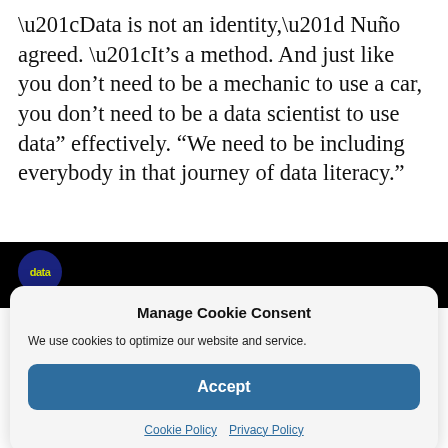“Data is not an identity,” Nuño agreed. “It’s a method. And just like you don’t need to be a mechanic to use a car, you don’t need to be a data scientist to use data” effectively. “We need to be including everybody in that journey of data literacy.”
[Figure (screenshot): Black banner with a circular dark blue logo showing yellow 'data' text, partially visible website header]
Manage Cookie Consent
We use cookies to optimize our website and service.
Accept
Cookie Policy  Privacy Policy